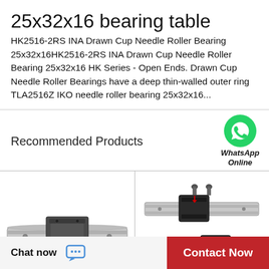25x32x16 bearing table
HK2516-2RS INA Drawn Cup Needle Roller Bearing 25x32x16HK2516-2RS INA Drawn Cup Needle Roller Bearing 25x32x16 HK Series - Open Ends. Drawn Cup Needle Roller Bearings have a deep thin-walled outer ring  TLA2516Z IKO needle roller bearing 25x32x16...
Recommended Products
[Figure (photo): Linear guide rail with square block carriage, silver/grey metallic, photographed diagonally]
[Figure (photo): Two linear guide rails with black carriages and assembly bolts indicated by red arrows, photographed at angle]
[Figure (illustration): WhatsApp logo - green circle with white phone handset icon]
WhatsApp Online
Chat now
Contact Now